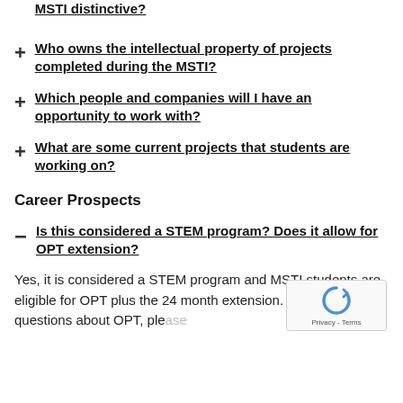MSTI distinctive?
Who owns the intellectual property of projects completed during the MSTI?
Which people and companies will I have an opportunity to work with?
What are some current projects that students are working on?
Career Prospects
Is this considered a STEM program? Does it allow for OPT extension?
Yes, it is considered a STEM program and MSTI students are eligible for OPT plus the 24 month extension. For specific questions about OPT, please